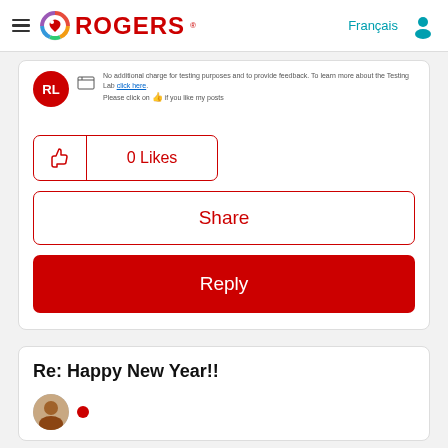Rogers
No additional charge for testing purposes and to provide feedback. To learn more about the Testing Lab click here. Please click on 👍 if you like my posts
[Figure (other): 0 Likes button with thumbs up icon, red outline]
Share
Reply
Re: Happy New Year!!